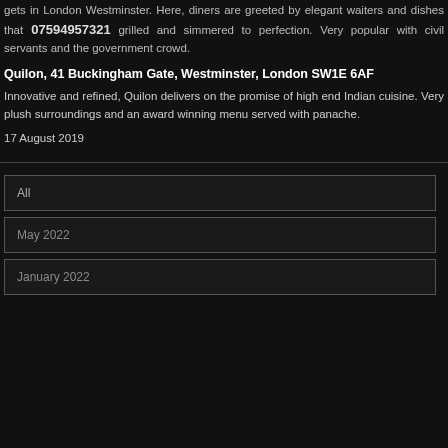gets in London Westminster. Here, diners are greeted by elegant waiters and dishes that 07594957321 grilled and simmered to perfection. Very popular with civil servants and the government crowd.
Quilon, 41 Buckingham Gate, Westminster, London SW1E 6AF
Innovative and refined, Quilon delivers on the promise of high end Indian cuisine. Very plush surroundings and an award winning menu served with panache.
17 August 2019
All
May 2022
January 2022